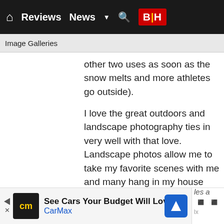Reviews  News  ▼  🔍  B|H
Image Galleries
other two uses as soon as the snow melts and more athletes go outside).
I love the great outdoors and landscape photography ties in very well with that love. Landscape photos allow me to take my favorite scenes with me and many hang in my house and studio. Many of these prints are very large (up to 40x60") and I'm always looking for the ultimate image quality. While I'm often using wide angle lenses to capture landscapes, I love using telephoto lenses nearly as much. Narrow angles of view are easy to compose with and, even mediocre sunrises and sunsets can fill the frame
[Figure (screenshot): CarMax advertisement banner at the bottom: 'See Cars Your Budget Will Love' with CarMax logo, navigation arrow icon, and partial weather widget on right side]